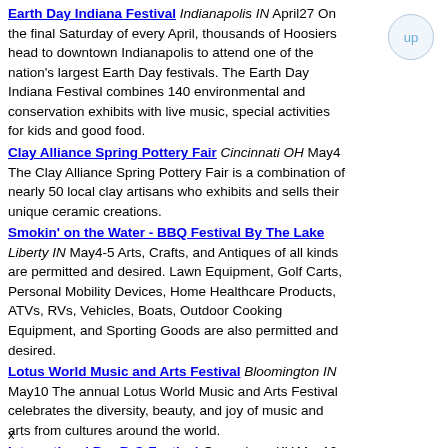Earth Day Indiana Festival Indianapolis IN April27 On the final Saturday of every April, thousands of Hoosiers head to downtown Indianapolis to attend one of the nation's largest Earth Day festivals. The Earth Day Indiana Festival combines 140 environmental and conservation exhibits with live music, special activities for kids and good food.
Clay Alliance Spring Pottery Fair Cincinnati OH May4 The Clay Alliance Spring Pottery Fair is a combination of nearly 50 local clay artisans who exhibits and sells their unique ceramic creations.
Smokin' on the Water - BBQ Festival By The Lake Liberty IN May4-5 Arts, Crafts, and Antiques of all kinds are permitted and desired. Lawn Equipment, Golf Carts, Personal Mobility Devices, Home Healthcare Products, ATVs, RVs, Vehicles, Boats, Outdoor Cooking Equipment, and Sporting Goods are also permitted and desired.
Lotus World Music and Arts Festival Bloomington IN May10 The annual Lotus World Music and Arts Festival celebrates the diversity, beauty, and joy of music and arts from cultures around the world.
International Bar-B-Q Festival Owensboro KY May10-11 The Owensboro riverfront becomes a hub of activity when cooking teams gather to compete with their secret recipes for barbecue.
x